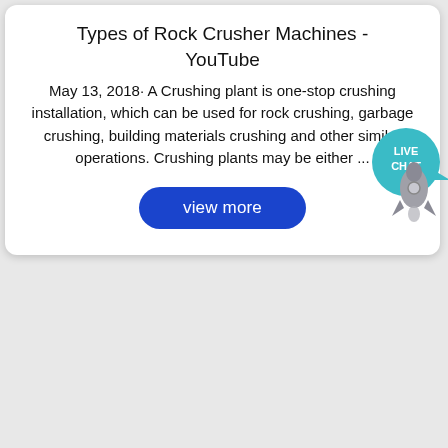Types of Rock Crusher Machines - YouTube
May 13, 2018· A Crushing plant is one-stop crushing installation, which can be used for rock crushing, garbage crushing, building materials crushing and other similar operations. Crushing plants may be either ...
[Figure (screenshot): Blue 'view more' button with rounded corners]
[Figure (photo): Photo of large industrial rock crusher machines (black bodies with red accents) outdoors with trees in background]